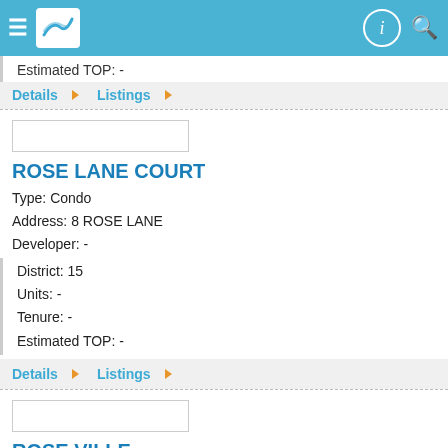Navigation header with logo and icons
Estimated TOP: -
Details ▶  Listings ▶
[Figure (other): Image placeholder box for property photo]
ROSE LANE COURT
Type: Condo
Address: 8 ROSE LANE
Developer: -
District: 15
Units: -
Tenure: -
Estimated TOP: -
Details ▶  Listings ▶
[Figure (other): Image placeholder box for property photo]
ROSE VILLE